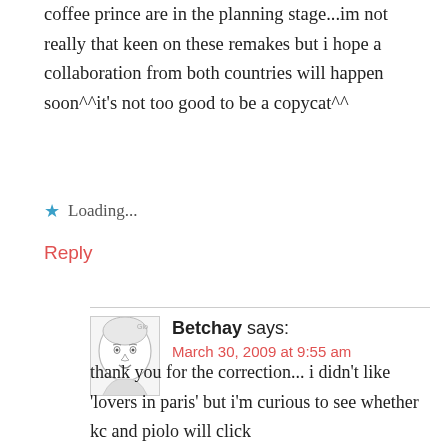coffee prince are in the planning stage...im not really that keen on these remakes but i hope a collaboration from both countries will happen soon^^it's not too good to be a copycat^^
Loading...
Reply
Betchay says: March 30, 2009 at 9:55 am
thank you for the correction... i didn't like 'lovers in paris' but i'm curious to see whether kc and piolo will click